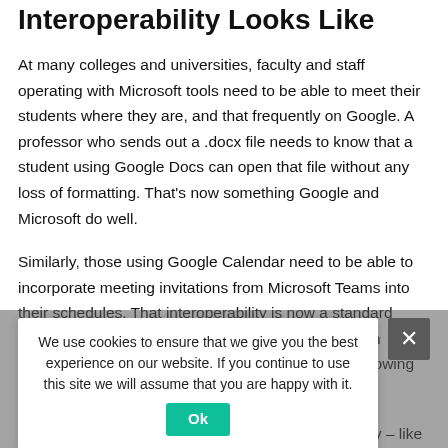Interoperability Looks Like
At many colleges and universities, faculty and staff operating with Microsoft tools need to be able to meet their students where they are, and that frequently on Google. A professor who sends out a .docx file needs to know that a student using Google Docs can open that file without any loss of formatting. That's now something Google and Microsoft do well.
Similarly, those using Google Calendar need to be able to incorporate meeting invitations from Microsoft Teams into their schedules. That interoperability is now a standard feature of how the two systems work together – even though, in the case of Teams invites, that means following external links to those meetings.
Some pieces of Google and Microsoft interoperability – like the two examples above – happen without any IT intervention
We use cookies to ensure that we give you the best experience on our website. If you continue to use this site we will assume that you are happy with it.